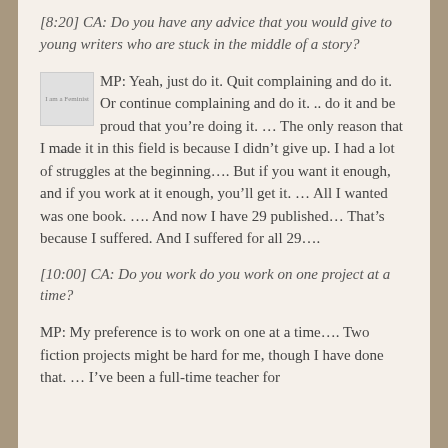[8:20] CA: Do you have any advice that you would give to young writers who are stuck in the middle of a story?
[Figure (illustration): Small thumbnail image labeled 'I am a Feminist cover']
MP: Yeah, just do it. Quit complaining and do it. Or continue complaining and do it. .. do it and be proud that you’re doing it. … The only reason that I made it in this field is because I didn’t give up. I had a lot of struggles at the beginning…. But if you want it enough, and if you work at it enough, you’ll get it. … All I wanted was one book. …. And now I have 29 published… That’s because I suffered. And I suffered for all 29….
[10:00] CA: Do you work do you work on one project at a time?
MP: My preference is to work on one at a time…. Two fiction projects might be hard for me, though I have done that. … I’ve been a full-time teacher for